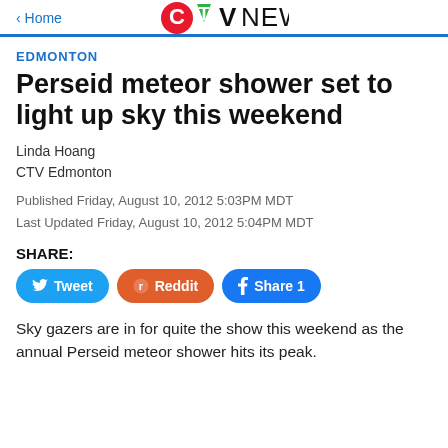CTV News — Home
EDMONTON
Perseid meteor shower set to light up sky this weekend
Linda Hoang
CTV Edmonton
Published Friday, August 10, 2012 5:03PM MDT
Last Updated Friday, August 10, 2012 5:04PM MDT
SHARE: Tweet Reddit Share 1
Sky gazers are in for quite the show this weekend as the annual Perseid meteor shower hits its peak.